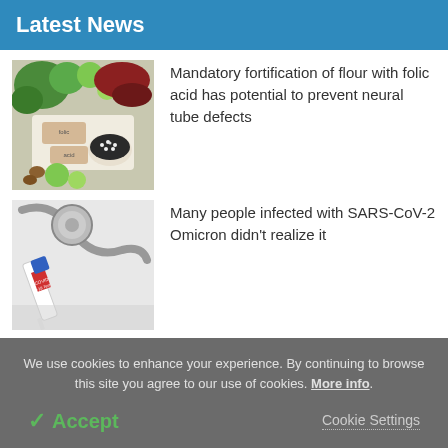Latest News
[Figure (photo): Overhead view of various foods including broccoli, meats, nuts, limes, and a small tag reading 'folic acid']
Mandatory fortification of flour with folic acid has potential to prevent neural tube defects
[Figure (photo): Close-up of a COVID-19 test swab and stethoscope on a white background]
Many people infected with SARS-CoV-2 Omicron didn't realize it
We use cookies to enhance your experience. By continuing to browse this site you agree to our use of cookies. More info.
✓ Accept
Cookie Settings